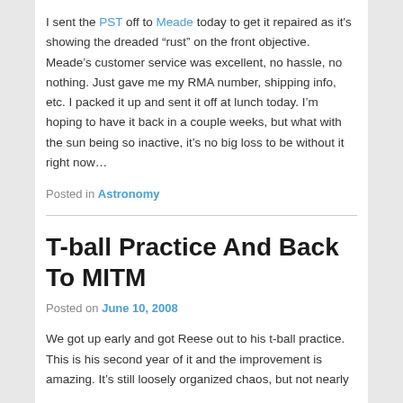I sent the PST off to Meade today to get it repaired as it's showing the dreaded “rust” on the front objective. Meade's customer service was excellent, no hassle, no nothing. Just gave me my RMA number, shipping info, etc. I packed it up and sent it off at lunch today. I’m hoping to have it back in a couple weeks, but what with the sun being so inactive, it's no big loss to be without it right now…
Posted in Astronomy
T-ball Practice And Back To MITM
Posted on June 10, 2008
We got up early and got Reese out to his t-ball practice. This is his second year of it and the improvement is amazing. It’s still loosely organized chaos, but not nearly